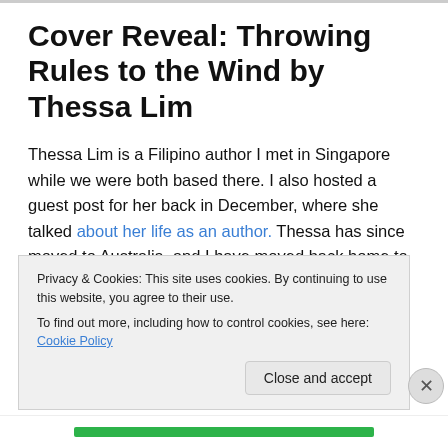Cover Reveal: Throwing Rules to the Wind by Thessa Lim
Thessa Lim is a Filipino author I met in Singapore while we were both based there. I also hosted a guest post for her back in December, where she talked about her life as an author. Thessa has since moved to Australia, and I have moved back home to Manila. And in that span of time, I still haven't had a chance to read her first book, In the Metro! I blame my ever-expanding TBR pile. I would
Privacy & Cookies: This site uses cookies. By continuing to use this website, you agree to their use.
To find out more, including how to control cookies, see here: Cookie Policy